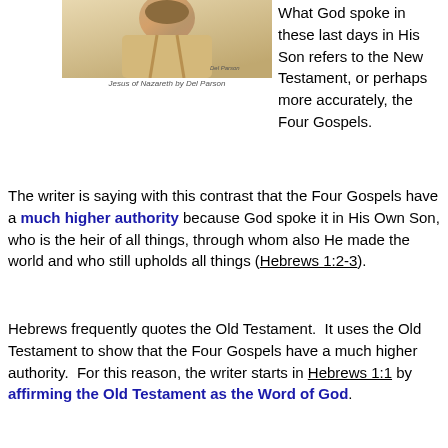[Figure (photo): Painting of Jesus of Nazareth by Del Parson, showing a figure in light brown/tan tones]
Jesus of Nazareth by Del Parson
What God spoke in these last days in His Son refers to the New Testament, or perhaps more accurately, the Four Gospels.
The writer is saying with this contrast that the Four Gospels have a much higher authority because God spoke it in His Own Son, who is the heir of all things, through whom also He made the world and who still upholds all things (Hebrews 1:2-3).
Hebrews frequently quotes the Old Testament. It uses the Old Testament to show that the Four Gospels have a much higher authority. For this reason, the writer starts in Hebrews 1:1 by affirming the Old Testament as the Word of God.